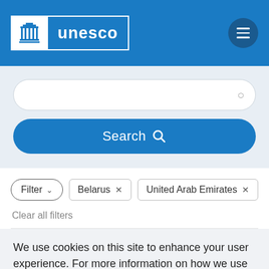[Figure (logo): UNESCO logo with building icon and blue 'unesco' text on white/blue background]
[Figure (screenshot): Hamburger menu button (three horizontal lines) in dark blue circle]
[Figure (screenshot): Search input field with search icon on right]
[Figure (screenshot): Blue Search button with magnifying glass icon]
[Figure (screenshot): Filter pill button with chevron, Belarus tag with X, United Arab Emirates tag with X]
Clear all filters
We use cookies on this site to enhance your user experience. For more information on how we use